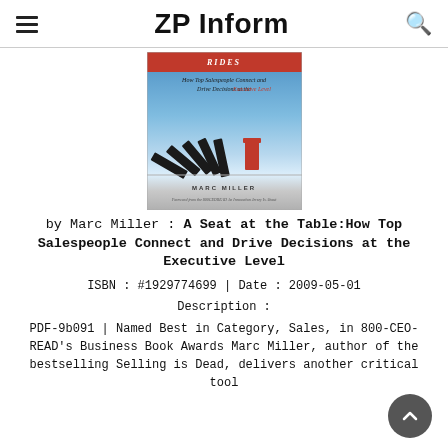ZP Inform
[Figure (illustration): Book cover for 'A Seat at the Table: How Top Salespeople Connect and Drive Decisions at the Executive Level' by Marc Miller, featuring dominoes falling with one red chair standing upright.]
by Marc Miller : A Seat at the Table:How Top Salespeople Connect and Drive Decisions at the Executive Level
ISBN : #1929774699 | Date : 2009-05-01
Description :
PDF-9b091 | Named Best in Category, Sales, in 800-CEO-READ's Business Book Awards Marc Miller, author of the bestselling Selling is Dead, delivers another critical tool